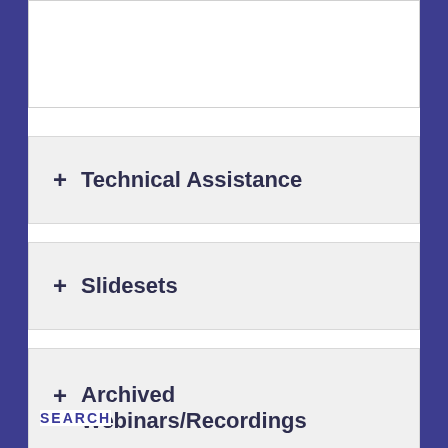+ Technical Assistance
+ Slidesets
+ Archived Webinars/Recordings
SEARCH